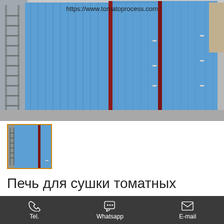[Figure (photo): Industrial drying oven/chamber with blue corrugated metal panels and red frame, multiple large doors with handles, inside a factory/warehouse. URL 'https://www.tomatoprocess.com' overlaid at top.]
[Figure (photo): Small thumbnail image of the same industrial blue drying oven/chamber, with orange/gold border.]
Печь для сушки томатных чипсов с электрическим нагревом периодического действия
Tel.   Whatsapp   E-mail